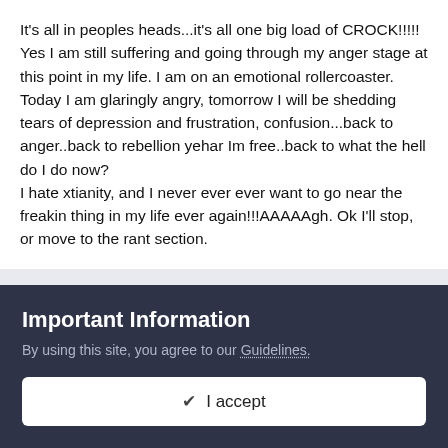It's all in peoples heads...it's all one big load of CROCK!!!!! Yes I am still suffering and going through my anger stage at this point in my life. I am on an emotional rollercoaster. Today I am glaringly angry, tomorrow I will be shedding tears of depression and frustration, confusion...back to anger..back to rebellion yehar Im free..back to what the hell do I do now?
I hate xtianity, and I never ever ever want to go near the freakin thing in my life ever again!!!AAAAAgh. Ok I'll stop, or move to the rant section.
Neon Genesis
Posted February 13, 2009
Important Information
By using this site, you agree to our Guidelines.
I accept